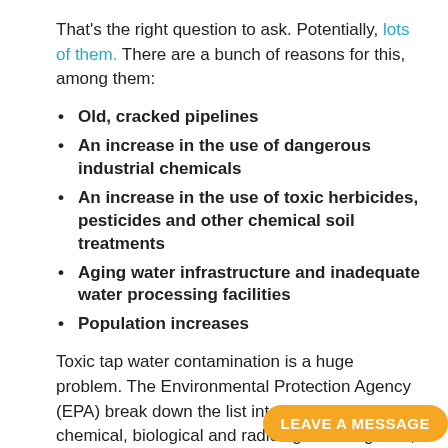That's the right question to ask. Potentially, lots of them. There are a bunch of reasons for this, among them:
Old, cracked pipelines
An increase in the use of dangerous industrial chemicals
An increase in the use of toxic herbicides, pesticides and other chemical soil treatments
Aging water infrastructure and inadequate water processing facilities
Population increases
Toxic tap water contamination is a huge problem. The Environmental Protection Agency (EPA) break down the list into physical, chemical, biological and radiological categories, so that toxins are generally referred to as one of the following:
Physical sediment or organi